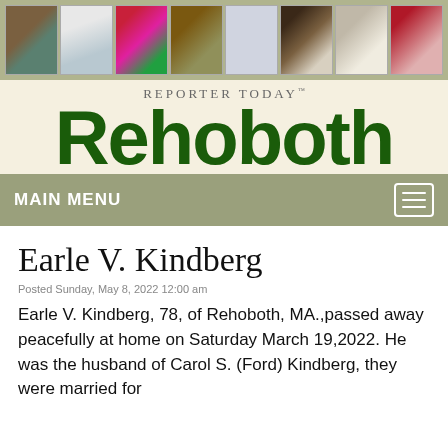[Figure (screenshot): Top image strip with 8 thumbnail photos in a row on a khaki/olive background]
REPORTER TODAY™
Rehoboth
MAIN MENU
Earle V. Kindberg
Posted Sunday, May 8, 2022 12:00 am
Earle V. Kindberg, 78, of Rehoboth, MA.,passed away peacefully at home on Saturday March 19,2022. He was the husband of Carol S. (Ford) Kindberg, they were married for